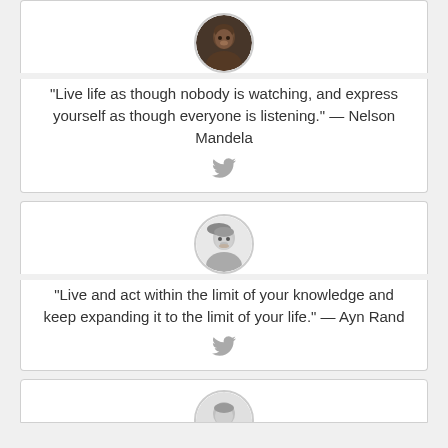[Figure (photo): Round avatar photo of Nelson Mandela, color photo]
“Live life as though nobody is watching, and express yourself as though everyone is listening.” — Nelson Mandela
[Figure (illustration): Twitter bird icon in gray]
[Figure (photo): Round avatar photo of Ayn Rand, black and white photo]
“Live and act within the limit of your knowledge and keep expanding it to the limit of your life.” — Ayn Rand
[Figure (illustration): Twitter bird icon in gray]
[Figure (photo): Partial round avatar photo, cropped at bottom of page]